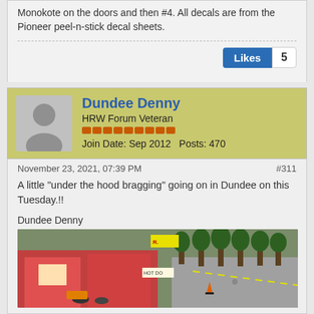Monokote on the doors and then #4. All decals are from the Pioneer peel-n-stick decal sheets.
Likes 5
Dundee Denny
HRW Forum Veteran
Join Date: Sep 2012    Posts: 470
November 23, 2021, 07:39 PM
#311
A little "under the hood bragging" going on in Dundee on this Tuesday.!!
Dundee Denny
[Figure (photo): Photo of a model/hobby diorama scene showing miniature buildings and trees along a road]